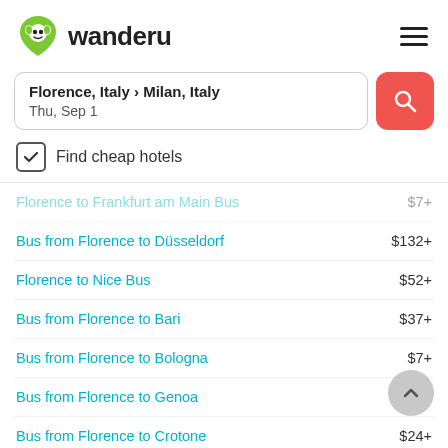[Figure (logo): Wanderu logo: green heart-shaped monkey icon and 'wanderu' wordmark in dark text]
Florence, Italy › Milan, Italy
Thu, Sep 1
Find cheap hotels
Florence to Frankfurt am Main Bus  $7+
Bus from Florence to Düsseldorf  $132+
Florence to Nice Bus  $52+
Bus from Florence to Bari  $37+
Bus from Florence to Bologna  $7+
Bus from Florence to Genoa  $16+
Bus from Florence to Crotone  $24+
Bus from Florence to Messina  $56+
Florence to Naples Bus  $21+
Bus from Florence to Padova  $10+